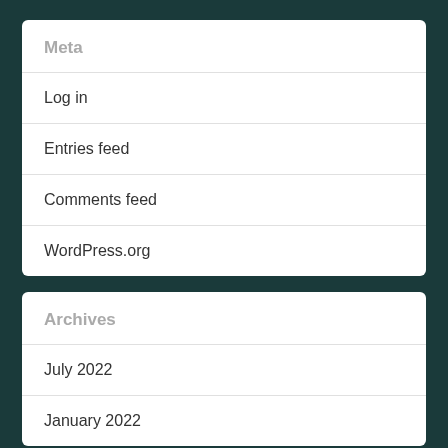Meta
Log in
Entries feed
Comments feed
WordPress.org
Archives
July 2022
January 2022